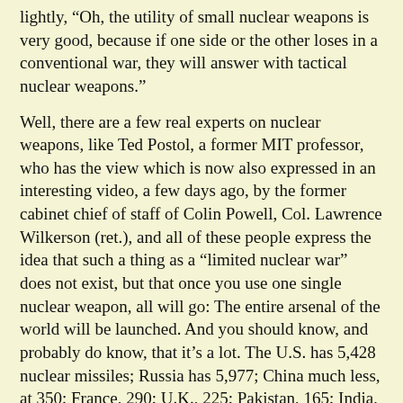lightly, “Oh, the utility of small nuclear weapons is very good, because if one side or the other loses in a conventional war, they will answer with tactical nuclear weapons.”
Well, there are a few real experts on nuclear weapons, like Ted Postol, a former MIT professor, who has the view which is now also expressed in an interesting video, a few days ago, by the former cabinet chief of staff of Colin Powell, Col. Lawrence Wilkerson (ret.), and all of these people express the idea that such a thing as a “limited nuclear war” does not exist, but that once you use one single nuclear weapon, all will go: The entire arsenal of the world will be launched. And you should know, and probably do know, that it’s a lot. The U.S. has 5,428 nuclear missiles; Russia has 5,977; China much less, at 350; France, 290; U.K., 225; Pakistan, 165; India, 160; Israel, 90; North Korea, 20.
If you launch all of that, the following will happen. According to Ted Postol, a wall of fire will be created around every single one of these missile detonations, which will have the temperature of the center of the